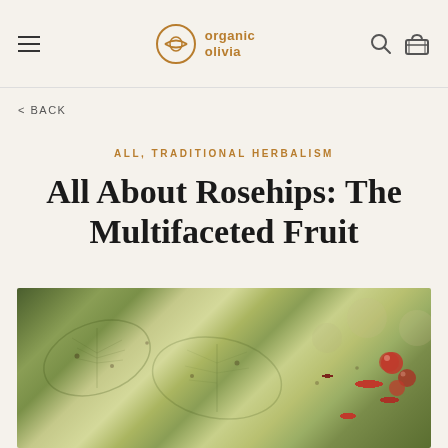organic olivia
< BACK
ALL, TRADITIONAL HERBALISM
All About Rosehips: The Multifaceted Fruit
[Figure (photo): Close-up photo of green and yellow-tinted leaves with small red rosehips visible in the background right side, shallow depth of field creating soft bokeh effect.]